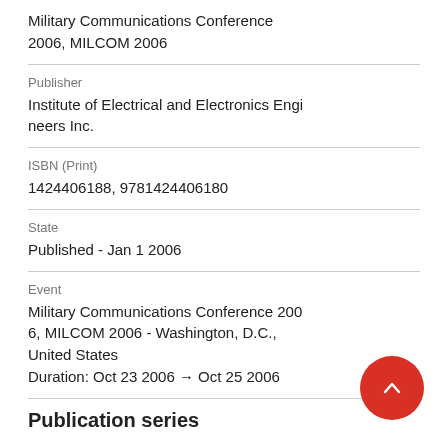Military Communications Conference 2006, MILCOM 2006
Publisher
Institute of Electrical and Electronics Engineers Inc.
ISBN (Print)
1424406188, 9781424406180
State
Published - Jan 1 2006
Event
Military Communications Conference 2006, MILCOM 2006 - Washington, D.C., United States
Duration: Oct 23 2006 → Oct 25 2006
Publication series
Name
Proceedings - IEEE Military